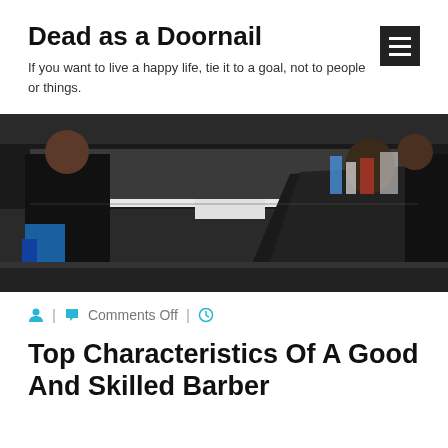Dead as a Doornail
If you want to live a happy life, tie it to a goal, not to people or things.
[Figure (photo): A barber shop scene showing a barber in black clothing standing next to a client seated in a barber chair covered with a large black cape, with shelves and products visible in the background.]
Comments Off
Top Characteristics Of A Good And Skilled Barber